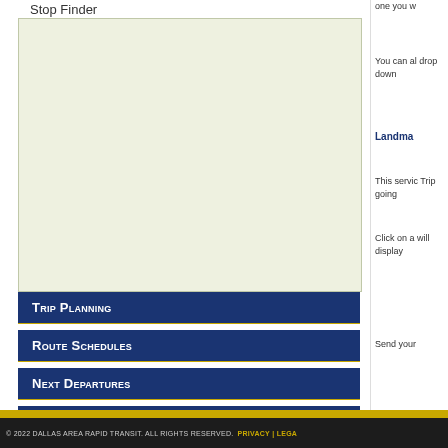Stop Finder
[Figure (map): A light green map area showing a transit stop finder map]
Trip Planning
Route Schedules
Next Departures
Landmarks
Stop Finder
one you w
You can al drop down
Landma
This servic Trip going
Click on a will display
Send your
© 2022 DALLAS AREA RAPID TRANSIT. ALL RIGHTS RESERVED.  PRIVACY | LEGA